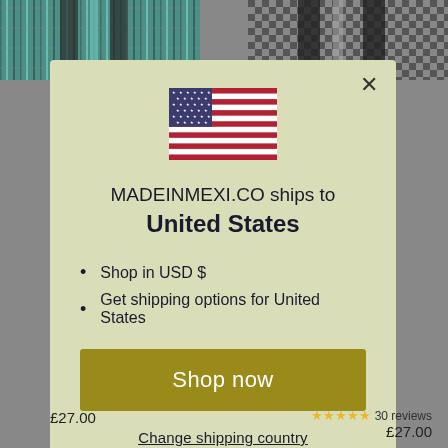[Figure (screenshot): US flag icon centered above modal text]
MADEINMEXI.CO ships to United States
Shop in USD $
Get shipping options for United States
Shop now
Change shipping country
£27.00
30 reviews £27.00